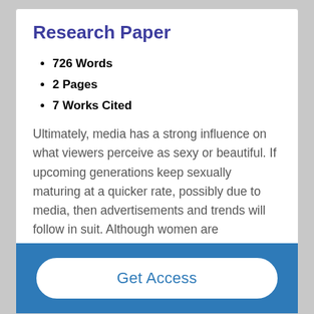Research Paper
726 Words
2 Pages
7 Works Cited
Ultimately, media has a strong influence on what viewers perceive as sexy or beautiful. If upcoming generations keep sexually maturing at a quicker rate, possibly due to media, then advertisements and trends will follow in suit. Although women are supposedly the most beautiful creatures on Earth, women cannot resist some good man candy. Recently, Gillette razors have released a commercial with